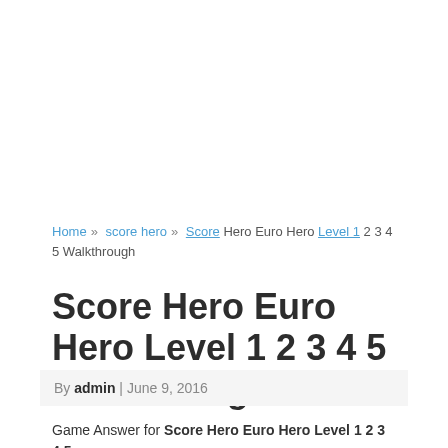Home » score hero » Score Hero Euro Hero Level 1 2 3 4 5 Walkthrough
Score Hero Euro Hero Level 1 2 3 4 5 Walkthrough
By admin | June 9, 2016
Game Answer for Score Hero Euro Hero Level 1 2 3 4 5